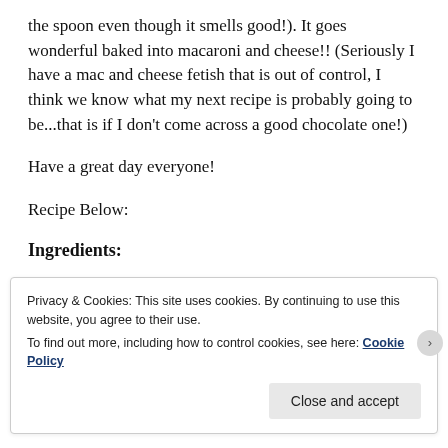the spoon even though it smells good!). It goes wonderful baked into macaroni and cheese!! (Seriously I have a mac and cheese fetish that is out of control, I think we know what my next recipe is probably going to be...that is if I don't come across a good chocolate one!)
Have a great day everyone!
Recipe Below:
Ingredients:
Privacy & Cookies: This site uses cookies. By continuing to use this website, you agree to their use.
To find out more, including how to control cookies, see here: Cookie Policy
Close and accept